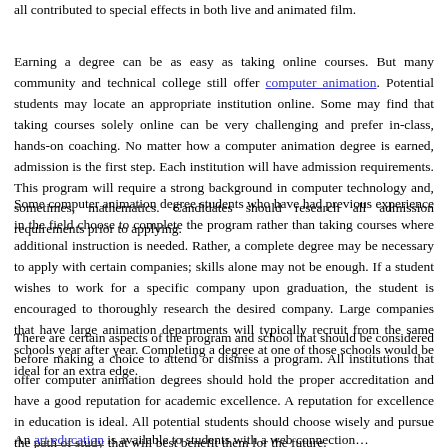all contributed to special effects in both live and animated film.
Earning a degree can be as easy as taking online courses. But many community and technical college still offer computer animation [link]. Potential students may locate an appropriate institution online. Some may find that taking courses solely online can be very challenging and prefer in-class, hands-on coaching. No matter how a computer animation degree is earned, admission is the first step. Each institution will have admission requirements. This program will require a strong background in computer technology and, sometimes, mathematics. Candidates should research all admission requirements prior to applying.
Some computer animation degree students who have had previous experience in the field choose to complete the program rather than taking courses where additional instruction is needed. Rather, a complete degree may be necessary to apply with certain companies; skills alone may not be enough. If a student wishes to work for a specific company upon graduation, the student is encouraged to thoroughly research the desired company. Large companies that have large animation departments will typically recruit from the same schools year after year. Completing a degree at one of those schools would be ideal for an extra edge.
There are certain aspects of the program and school that should be considered before making a choice to attend or dismiss a program. All institutions that offer computer animation degrees should hold the proper accreditation and have a good reputation for academic excellence. A reputation for excellence in education is ideal. All potential students should choose wisely and pursue the path of study that will best benefit them for the future.
An art education [link] is available to students with a web connection...